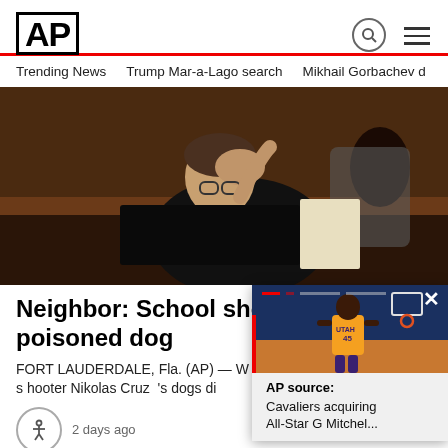AP
Trending News   Trump Mar-a-Lago search   Mikhail Gorbachev d
[Figure (photo): A person with glasses holding their head in distress, seated at what appears to be a courtroom desk]
Neighbor: School shooter kill poisoned dog
FORT LAUDERDALE, Fla. (AP) — W shooter Nikolas Cruz 's dogs di
2 days ago
[Figure (photo): Basketball player in Utah Jazz uniform, popup notification card]
AP source: Cavaliers acquiring All-Star G Mitchel...